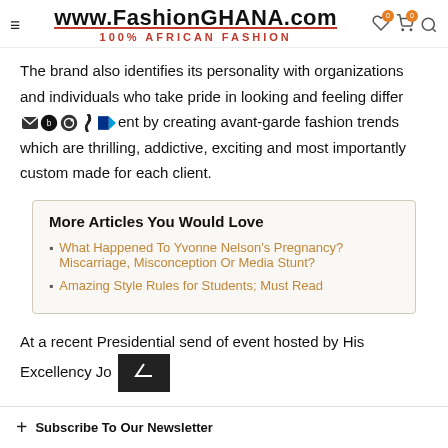www.FashionGHANA.com — 100% AFRICAN FASHION
The brand also identifies its personality with organizations and individuals who take pride in looking and feeling different by creating avant-garde fashion trends which are thrilling, addictive, exciting and most importantly custom made for each client.
More Articles You Would Love
What Happened To Yvonne Nelson's Pregnancy? Miscarriage, Misconception Or Media Stunt?
Amazing Style Rules for Students; Must Read
At a recent Presidential send of event hosted by His Excellency Jo
+ Subscribe To Our Newsletter